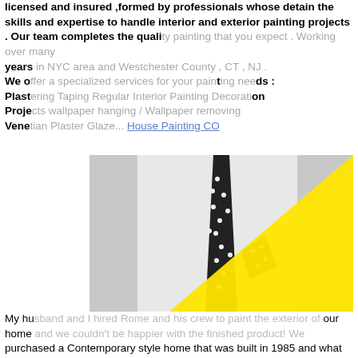licensed and insured ,formed by professionals whose detain the skills and expertise to handle interior and exterior painting projects . Our team completes the quality painting that you expect . Working over many years in NYC area and Westchester County , CT , NJ . We offer a specialized services for your painting needs : Plastering Taping Regular Interior Painting Decoration Projects wallpaper hanging / Wallpaper removing Venetian Plaster Glaze... House Painting CO
[Figure (photo): Black and white photo of a man wearing a white suit with a black polka-dot tie and matching pocket square, with a large yellow triangle shape overlaid in the lower-right portion of the image.]
My husband and I hired Rome and his crew to paint the exterior of our home and we couldn't be happier with the finished product! We purchased a Contemporary style home that was built in 1985 and what was once a gloomy, sad shade of a blue/grey, in desperate need of a